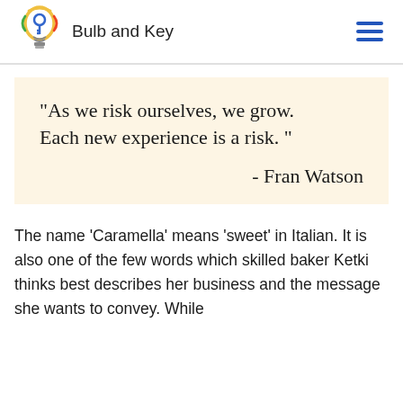Bulb and Key
"As we risk ourselves, we grow. Each new experience is a risk. " - Fran Watson
The name ‘Caramella’ means ‘sweet’ in Italian. It is also one of the few words which skilled baker Ketki thinks best describes her business and the message she wants to convey. While